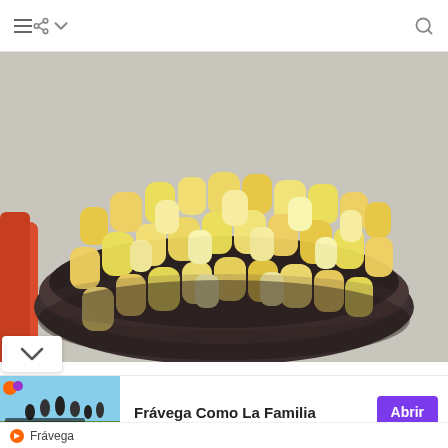Navigation bar with menu, share, dropdown, and search icons
[Figure (photo): Close-up photo of yellow/cream corn puff snacks filling a dark metal bowl, with a red object visible on the left side, shot on a gray surface]
[Figure (screenshot): Scroll down chevron button overlay on bottom-left of photo]
[Figure (photo): Advertisement banner: Frávega Como La Familia - showing a group of people on a sports field with FAMILIA text overlay, with purple Abrir (Open) button]
Frávega Como La Familia
Frávega